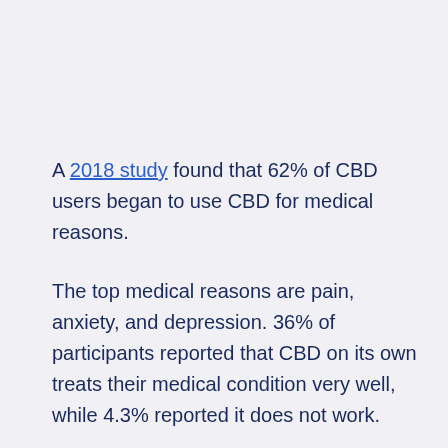A 2018 study found that 62% of CBD users began to use CBD for medical reasons.
The top medical reasons are pain, anxiety, and depression. 36% of participants reported that CBD on its own treats their medical condition very well, while 4.3% reported it does not work.
CBD is one out of proximity 120 phytocannabinoids found in Sativa cannabis.